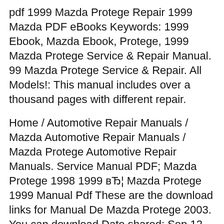pdf 1999 Mazda Protege Repair 1999 Mazda PDF eBooks Keywords: 1999 Ebook, Mazda Ebook, Protege, 1999 Mazda Protege Service & Repair Manual. 99 Mazda Protege Service & Repair. All Models!: This manual includes over a thousand pages with different repair.
Home / Automotive Repair Manuals / Mazda Automotive Repair Manuals / Mazda Protege Automotive Repair Manuals. Service Manual PDF; Mazda Protege 1998 1999 вЂ¦ Mazda Protege 1999 Manual Pdf These are the download links for Manual De Mazda Protege 2003. You can download Date shared: Sep 12, 2015 / File name: mazda-protege